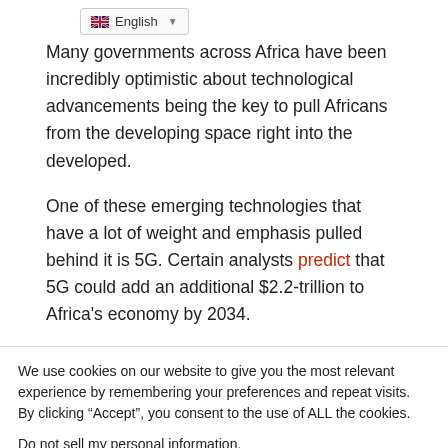English
Many governments across Africa have been incredibly optimistic about technological advancements being the key to pull Africans from the developing space right into the developed.
One of these emerging technologies that have a lot of weight and emphasis pulled behind it is 5G. Certain analysts predict that 5G could add an additional $2.2-trillion to Africa's economy by 2034.
We use cookies on our website to give you the most relevant experience by remembering your preferences and repeat visits. By clicking “Accept”, you consent to the use of ALL the cookies.
Do not sell my personal information.